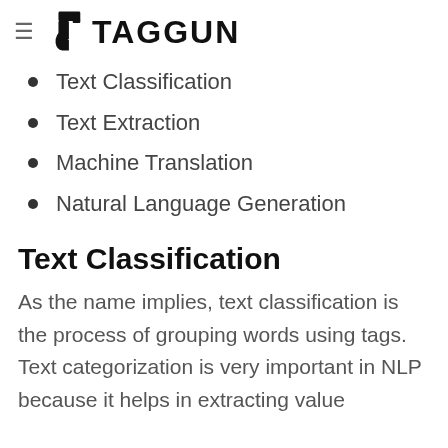TAGGUN
Text Classification
Text Extraction
Machine Translation
Natural Language Generation
Text Classification
As the name implies, text classification is the process of grouping words using tags. Text categorization is very important in NLP because it helps in extracting value